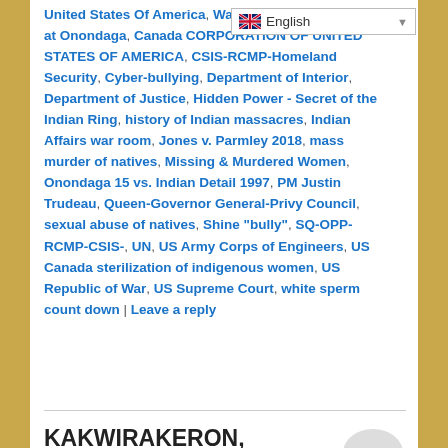[Figure (screenshot): English language selector dropdown widget with UK flag icon]
United States Of America, Warrior, 1997 NYS attack at Onondaga, CANADA CORPORATION OF UNITED STATES OF AMERICA, CSIS-RCMP-Homeland Security, Cyber-bullying, Department of Interior, Department of Justice, Hidden Power - Secret of the Indian Ring, history of Indian massacres, Indian Affairs war room, Jones v. Parmley 2018, mass murder of natives, Missing & Murdered Women, Onondaga 15 vs. Indian Detail 1997, PM Justin Trudeau, Queen-Governor General-Privy Council, sexual abuse of natives, Shine "bully", SQ-OPP-RCMP-CSIS-, UN, US Army Corps of Engineers, US Canada sterilization of indigenous women, US Republic of War, US Supreme Court, white sperm count down | Leave a reply
KAKWIRAKERON, WARRIOR, TRAVELS ON
Posted on November 2, 2017
[Figure (photo): Partial image showing a red semicircle shape at bottom of page]